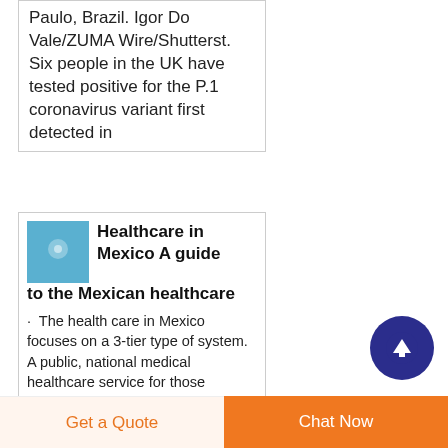Paulo, Brazil. Igor Do Vale/ZUMA Wire/Shutterst. Six people in the UK have tested positive for the P.1 coronavirus variant first detected in
Healthcare in Mexico A guide to the Mexican healthcare
The health care in Mexico focuses on a 3-tier type of system. A public, national medical healthcare service for those employed. A social health security system covers
[Figure (other): Blue thumbnail image for Healthcare in Mexico article]
Get a Quote
Chat Now